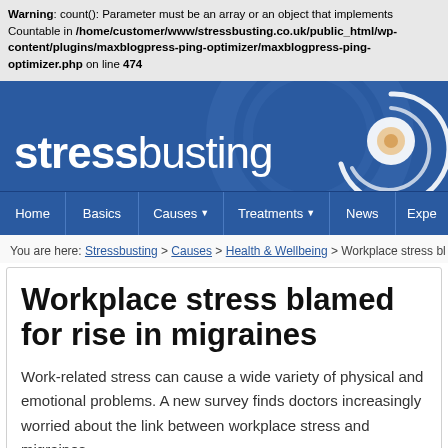Warning: count(): Parameter must be an array or an object that implements Countable in /home/customer/www/stressbusting.co.uk/public_html/wp-content/plugins/maxblogpress-ping-optimizer/maxblogpress-ping-optimizer.php on line 474
[Figure (logo): Stressbusting website logo — blue background with 'stressbusting' text in white and a spiral circle graphic on the right]
[Figure (other): Navigation bar with menu items: Home, Basics, Causes (with dropdown arrow), Treatments (with dropdown arrow), News, Expe[rts]]
You are here: Stressbusting > Causes > Health & Wellbeing > Workplace stress bl...
Workplace stress blamed for rise in migraines
Work-related stress can cause a wide variety of physical and emotional problems. A new survey finds doctors increasingly worried about the link between workplace stress and migraines.